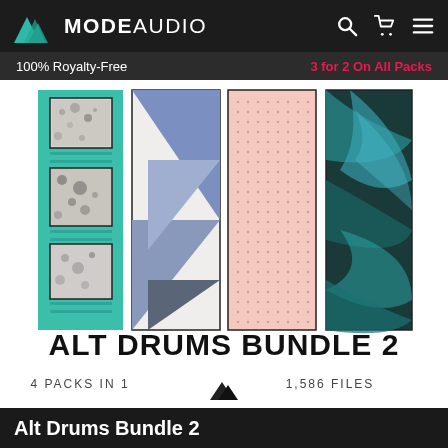MODE AUDIO
100% Royalty-Free   3 for 2 On All Packs
[Figure (illustration): Alt Drums Bundle 2 product image showing four vertical panels with different textures (teal/stone, geometric blue-gray, pink dotted, teal-black marble) above large text reading ALT DRUMS BUNDLE 2, with subtitle 4 PACKS IN 1 and 1,586 FILES]
Alt Drums Bundle 2